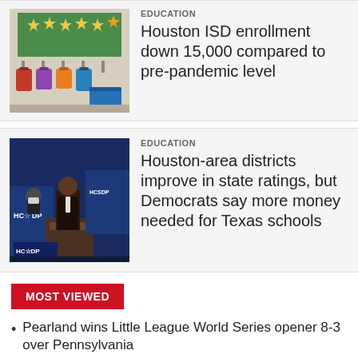[Figure (photo): Classroom with backpacks hung on wall hooks, colorful decorations including stars on a chalkboard]
EDUCATION
Houston ISD enrollment down 15,000 compared to pre-pandemic level
[Figure (photo): People at a podium with HCDP (Harris County Democratic Party) banners, press conference setting]
EDUCATION
Houston-area districts improve in state ratings, but Democrats say more money needed for Texas schools
MOST VIEWED
Pearland wins Little League World Series opener 8-3 over Pennsylvania